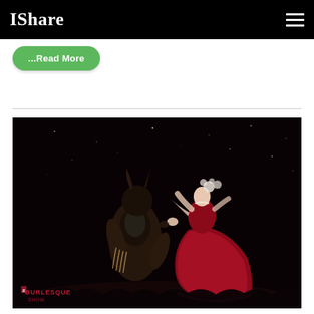IShare
...Read More
[Figure (photo): Two performers on a dark stage: one in a dark beast/monster costume with horns, and one in a red ballgown with floral headpiece, appearing to be in a theatrical Beauty and the Beast burlesque performance. A 'Burlesque' watermark logo is visible in the lower left corner.]